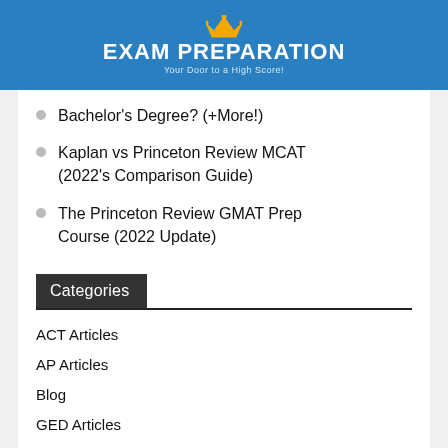[Figure (logo): Exam Preparation logo with crown icon, blue background, white bold text 'EXAM PREPARATION', subtitle 'Your Door to a High Score!']
Bachelor's Degree? (+More!)
Kaplan vs Princeton Review MCAT (2022's Comparison Guide)
The Princeton Review GMAT Prep Course (2022 Update)
Categories
ACT Articles
AP Articles
Blog
GED Articles
GMAT Articles
GRE Articles
IELTS Articles
LSAT Articles